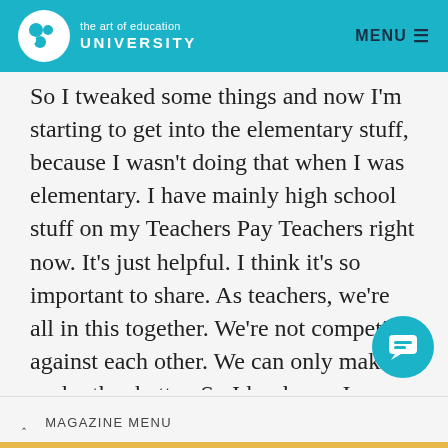the art of education UNIVERSITY | MENU
So I tweaked some things and now I'm starting to get into the elementary stuff, because I wasn't doing that when I was elementary. I have mainly high school stuff on my Teachers Pay Teachers right now. It's just helpful. I think it's so important to share. As teachers, we're all in this together. We're not competing against each other. We can only make each other better. So I lov learn. I consider myself a lifelong learner fo
^ MAGAZINE MENU